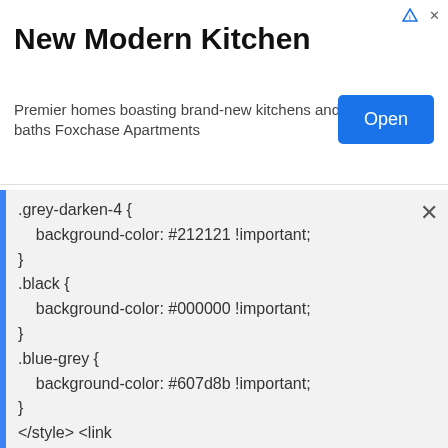[Figure (screenshot): Advertisement banner for 'New Modern Kitchen' - Premier homes boasting brand-new kitchens and baths Foxchase Apartments with an Open button]
.grey-darken-4 {
    background-color: #212121 !important;
}
.black {
    background-color: #000000 !important;
}
.blue-grey {
    background-color: #607d8b !important;
}
</style> <link href='https://cdnjs.cloudflare.com/ajax/libs/font-awesome/4.6.3/css/font-awesome.min.css' rel='stylesheet'/> </div>
<b:include name='quickedit'/>
</b:includable> </b:widget>